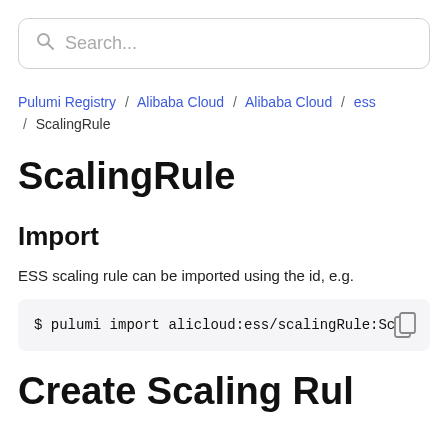Search...
Pulumi Registry / Alibaba Cloud / Alibaba Cloud / ess / ScalingRule
ScalingRule
Import
ESS scaling rule can be imported using the id, e.g.
$ pulumi import alicloud:ess/scalingRule:Scal
Create Scaling Rul...